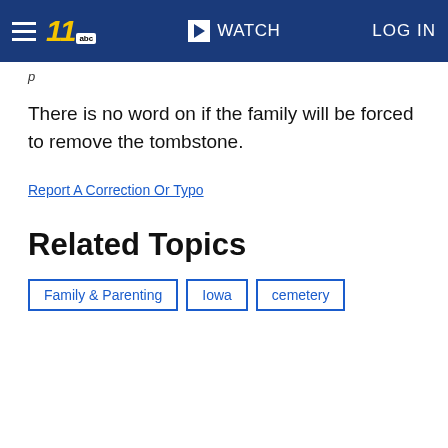WATCH  LOG IN
There is no word on if the family will be forced to remove the tombstone.
Report A Correction Or Typo
Related Topics
Family & Parenting
Iowa
cemetery